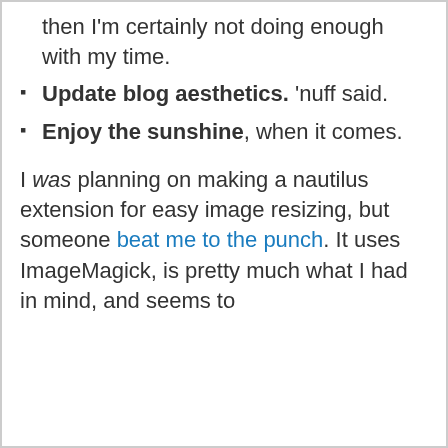then I'm certainly not doing enough with my time.
Update blog aesthetics. 'nuff said.
Enjoy the sunshine, when it comes.
I was planning on making a nautilus extension for easy image resizing, but someone beat me to the punch. It uses ImageMagick, is pretty much what I had in mind, and seems to